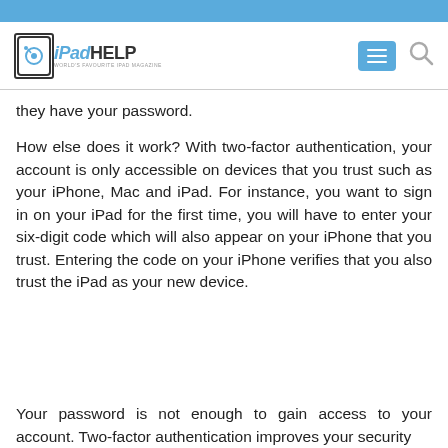iPadHELP — WORLD'S FAVOURITE IPAD MAGAZINE
they have your password.
How else does it work? With two-factor authentication, your account is only accessible on devices that you trust such as your iPhone, Mac and iPad. For instance, you want to sign in on your iPad for the first time, you will have to enter your six-digit code which will also appear on your iPhone that you trust. Entering the code on your iPhone verifies that you also trust the iPad as your new device.
Your password is not enough to gain access to your account. Two-factor authentication improves your security